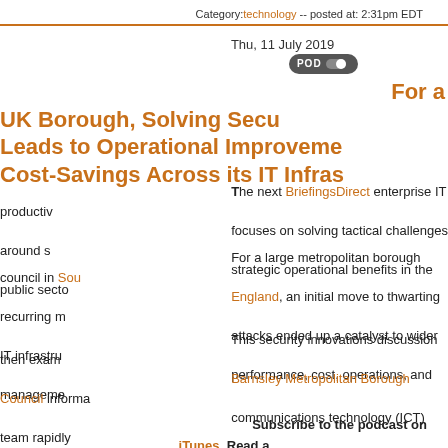Category: technology -- posted at: 2:31pm EDT
Thu, 11 July 2019
[Figure (logo): POD badge/icon with toggle switch graphic]
For a UK Borough, Solving Security Leads to Operational Improvements and Cost-Savings Across its IT Infrastructure
The next BriefingsDirect enterprise IT productivity podcast focuses on solving tactical challenges around security and strategic operational benefits in the public sector.
For a large metropolitan borough council in South East England, an initial move to thwarting recurring malware attacks ended up a catalyst to wider IT infrastructure performance, cost, operations, and management improvements.
This security innovations discussion then examines how Barnsley Metropolitan Borough Council information and communications technology (ICT) team rapidly deployed malware protection across 3,500 physical and virtual workstations and servers.
Subscribe to the podcast on iTunes. Read a transcript or download a copy.